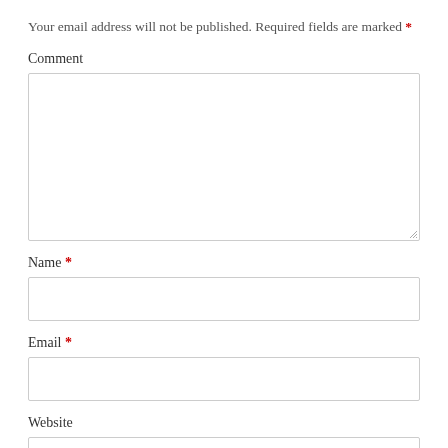Your email address will not be published. Required fields are marked *
Comment
[Figure (other): Large textarea input box for comment field]
Name *
[Figure (other): Text input box for Name field]
Email *
[Figure (other): Text input box for Email field]
Website
[Figure (other): Text input box for Website field]